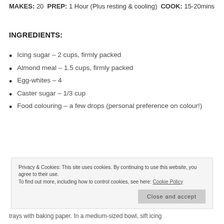MAKES: 20  PREP: 1 Hour (Plus resting & cooling)  COOK: 15-20mins
INGREDIENTS:
Icing sugar – 2 cups, firmly packed
Almond meal – 1.5 cups, firmly packed
Egg-whites – 4
Caster sugar – 1/3 cup
Food colouring – a few drops (personal preference on colour!)
Privacy & Cookies: This site uses cookies. By continuing to use this website, you agree to their use. To find out more, including how to control cookies, see here: Cookie Policy
trays with baking paper. In a medium-sized bowl, sift icing